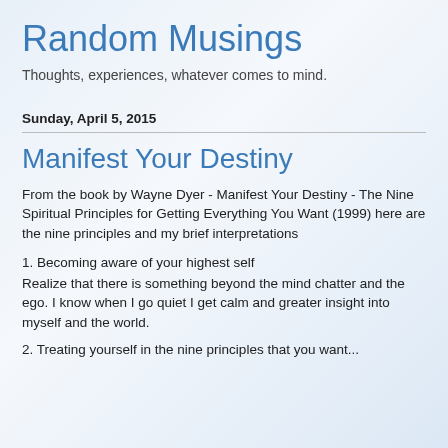Random Musings
Thoughts, experiences, whatever comes to mind.
Sunday, April 5, 2015
Manifest Your Destiny
From the book by Wayne Dyer - Manifest Your Destiny - The Nine Spiritual Principles for Getting Everything You Want (1999) here are the nine principles and my brief interpretations
1. Becoming aware of your highest self
Realize that there is something beyond the mind chatter and the ego. I know when I go quiet I get calm and greater insight into myself and the world.
2. Treating yourself in the nine principles that you want...